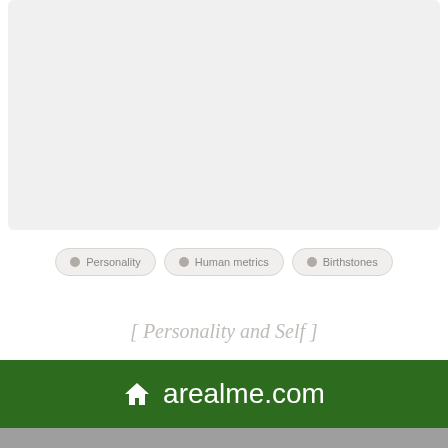[Figure (screenshot): Light gray rectangular panel at the top of the page]
Personality
Human metrics
Birthstones
[ Personality and Self ]
arealme.com